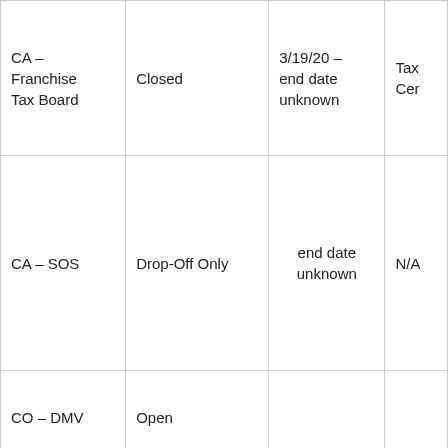| CA – Franchise Tax Board | Closed | 3/19/20 – end date unknown | Tax Cer |
| CA – SOS | Drop-Off Only | end date unknown | N/A |
| CO – DMV | Open |  |  |
| CO-SOS | Open | 4/19/22 | N/A |